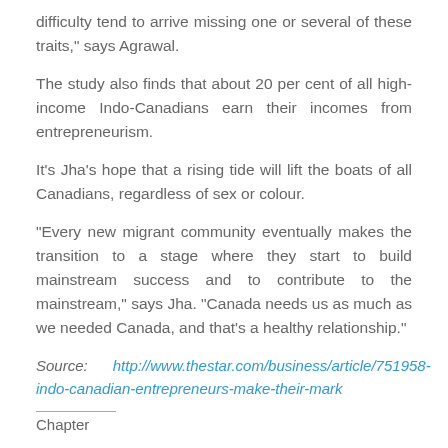difficulty tend to arrive missing one or several of these traits," says Agrawal.
The study also finds that about 20 per cent of all high-income Indo-Canadians earn their incomes from entrepreneurism.
It’s Jha’s hope that a rising tide will lift the boats of all Canadians, regardless of sex or colour.
“Every new migrant community eventually makes the transition to a stage where they start to build mainstream success and to contribute to the mainstream,” says Jha. “Canada needs us as much as we needed Canada, and that’s a healthy relationship.”
Source: http://www.thestar.com/business/article/751958-indo-canadian-entrepreneurs-make-their-mark
Chapter